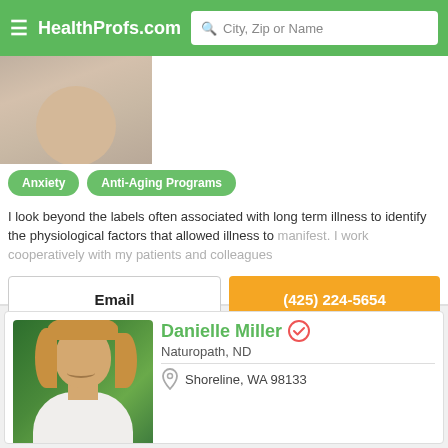HealthProfs.com  City, Zip or Name
[Figure (photo): Partial face photo of a woman, cropped at chin level showing a smile, neutral background]
Anxiety
Anti-Aging Programs
I look beyond the labels often associated with long term illness to identify the physiological factors that allowed illness to manifest. I work cooperatively with my patients and colleagues
Email
(425) 224-5654
Danielle Miller
Naturopath, ND
Shoreline, WA 98133
[Figure (photo): Portrait photo of Danielle Miller, a woman with long blonde hair wearing a white top, green foliage background]